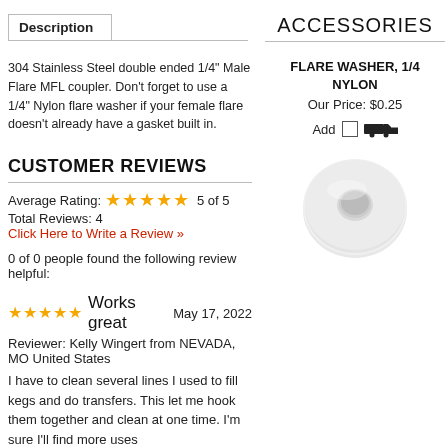Description
304 Stainless Steel double ended 1/4" Male Flare MFL coupler. Don't forget to use a 1/4" Nylon flare washer if your female flare doesn't already have a gasket built in.
ACCESSORIES
FLARE WASHER, 1/4 NYLON
Our Price: $0.25
[Figure (photo): White nylon flare washer, donut-shaped, viewed from above]
CUSTOMER REVIEWS
Average Rating: 5 of 5
Total Reviews: 4
Click Here to Write a Review »
0 of 0 people found the following review helpful:
Works great   May 17, 2022
Reviewer: Kelly Wingert from NEVADA, MO United States
I have to clean several lines I used to fill kegs and do transfers. This let me hook them together and clean at one time. I'm sure I'll find more uses